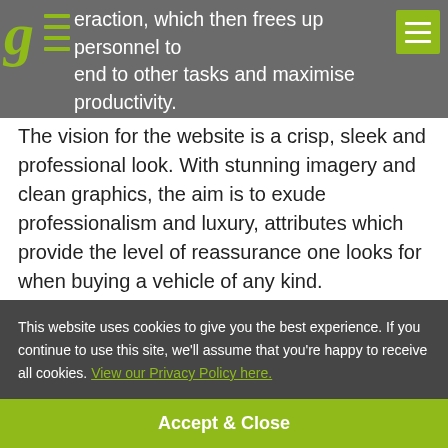…eraction, which then frees up personnel to attend to other tasks and maximise productivity.
The vision for the website is a crisp, sleek and professional look. With stunning imagery and clean graphics, the aim is to exude professionalism and luxury, attributes which provide the level of reassurance one looks for when buying a vehicle of any kind.
This website uses cookies to give you the best experience. If you continue to use this site, we'll assume that you're happy to receive all cookies. View our Privacy Policy here.
Accept & Close